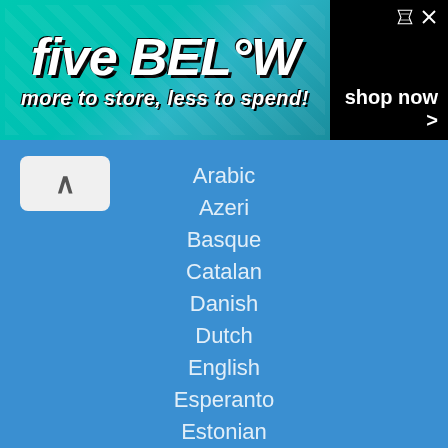[Figure (screenshot): Five Below advertisement banner: teal/cyan background with 'five BELOW' logo in large italic white text with black outline, tagline 'more to store, less to spend!' and 'shop now >' button on black background]
Arabic
Azeri
Basque
Catalan
Danish
Dutch
English
Esperanto
Estonian
Faroese
Finnish verbs
Finnish adjectives
Finnish nouns
French
German
Hawaiian